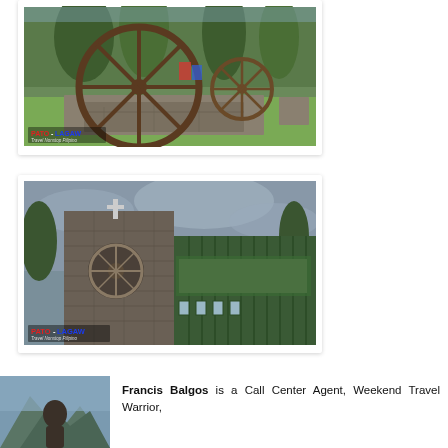[Figure (photo): Outdoor scene with a large rusty iron wagon wheel mounted on stone blocks, pine trees in background, green grass, colorful buildings visible in distance. Watermark: PATO-LAGAW / Travel Nonstop Pilipino]
[Figure (photo): Stone church building with a cross on top of bell tower, rose window detail, green corrugated metal roof extending to the right, overcast sky. Watermark: PATO-LAGAW / Travel Nonstop Pilipino]
[Figure (photo): Partial photo of author Francis Balgos, showing upper body outdoors.]
Francis Balgos is a Call Center Agent, Weekend Travel Warrior,